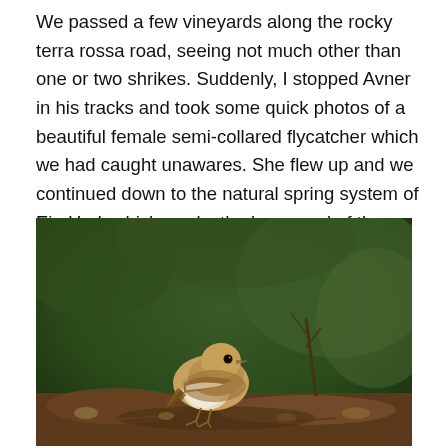We passed a few vineyards along the rocky terra rossa road, seeing not much other than one or two shrikes. Suddenly, I stopped Avner in his tracks and took some quick photos of a beautiful female semi-collared flycatcher which we had caught unawares. She flew up and we continued down to the natural spring system of Ein Hod, which marks the lower end of the archaeologically interesting part of our adventure.
[Figure (photo): A small bird, appearing to be a female semi-collared flycatcher, perched on rocky/woody ground with blurred dark green foliage in the background. The bird has brown/beige plumage on top and lighter whitish underparts with brownish wing markings.]